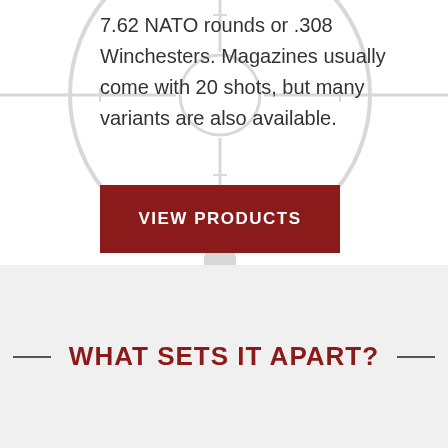7.62 NATO rounds or .308 Winchesters. Magazines usually come with 20 shots, but many variants are also available.
[Figure (illustration): Faded circular crosshair/scope reticle watermark in the background]
VIEW PRODUCTS
WHAT SETS IT APART?